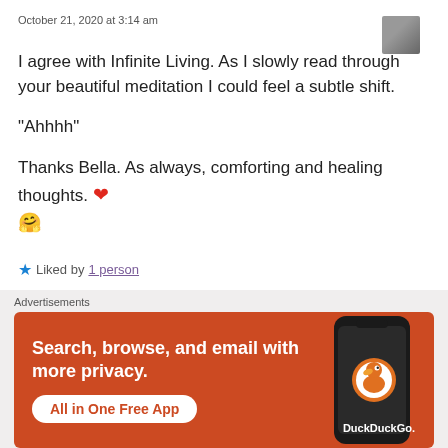October 21, 2020 at 3:14 am
I agree with Infinite Living. As I slowly read through your beautiful meditation I could feel a subtle shift.
“Ahhhh”
Thanks Bella. As always, comforting and healing thoughts. ❤ 🤗
★ Liked by 1 person
Reply
Advertisements
[Figure (screenshot): DuckDuckGo advertisement banner with orange background. Text: 'Search, browse, and email with more privacy. All in One Free App'. Shows phone mockup with DuckDuckGo logo.]